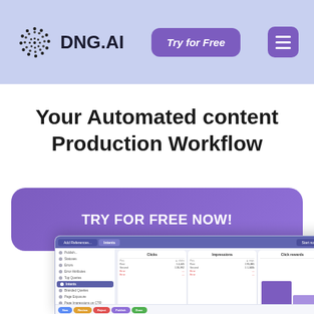[Figure (logo): DNG.AI logo: dotted circle icon with text 'DNG.AI']
[Figure (screenshot): Navigation bar with 'Try for Free' purple button and hamburger menu button]
Your Automated content Production Workflow
TRY FOR FREE NOW!
[Figure (screenshot): Screenshot of DNG.AI dashboard app interface showing sidebar navigation and data panels with Clicks, Impressions, Click rewards columns and a bar chart]